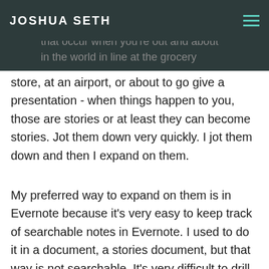JOSHUA SETH
find them. I've got another list for stories in story list. Now the stories that occur when you're out and about in the world in line at the grocery store, at an airport, or about to go give a presentation - when things happen to you, those are stories or at least they can become stories. Jot them down very quickly. I jot them down and then I expand on them.
My preferred way to expand on them is in Evernote because it's very easy to keep track of searchable notes in Evernote. I used to do it in a document, a stories document, but that way is not searchable. It's very difficult to drill down and find exactly what you're looking for if you do it that way. But if you do it in something like Evernote, where you can search throughout all of the notes very effortlessly, I find that's a great way to elaborate on the little mental triggers